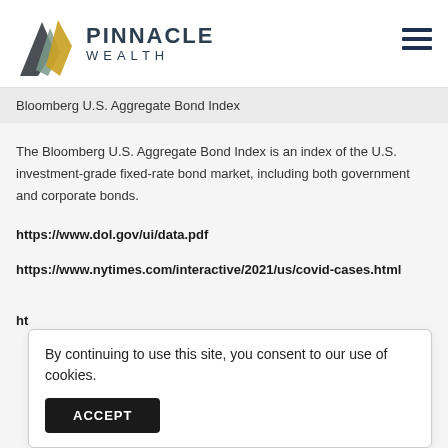[Figure (logo): Pinnacle Wealth logo with stylized arrow/leaf graphic and text PINNACLE WEALTH]
Bloomberg U.S. Aggregate Bond Index
The Bloomberg U.S. Aggregate Bond Index is an index of the U.S. investment-grade fixed-rate bond market, including both government and corporate bonds.
https://www.dol.gov/ui/data.pdf
https://www.nytimes.com/interactive/2021/us/covid-cases.html
By continuing to use this site, you consent to our use of cookies.
ACCEPT